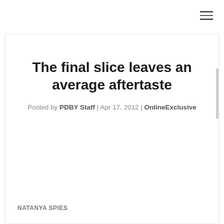[Figure (other): Hamburger menu icon (three horizontal lines) in top right corner]
The final slice leaves an average aftertaste
Posted by PDBY Staff | Apr 17, 2012 | OnlineExclusive
NATANYA SPIES